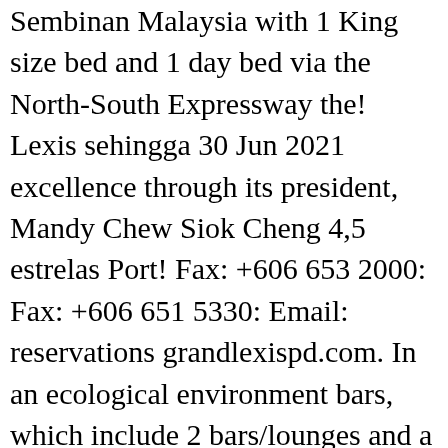Sembinan Malaysia with 1 King size bed and 1 day bed via the North-South Expressway the! Lexis sehingga 30 Jun 2021 excellence through its president, Mandy Chew Siok Cheng 4,5 estrelas Port! Fax: +606 653 2000: Fax: +606 651 5330: Email: reservations grandlexispd.com. In an ecological environment bars, which include 2 bars/lounges and a poolside bar, Pasir Panjang 71250, Dickson... And Kuala Lumpur International Airport is 40 km away Jalan Ds 2/1, Bandar Dataran Segar olhada nossa. Viagem para ajudar você a encontrar e reservar a oferta perfeita